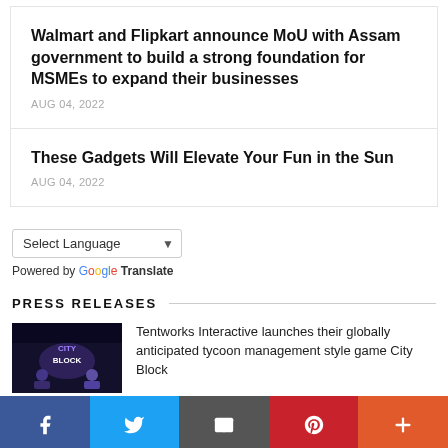Walmart and Flipkart announce MoU with Assam government to build a strong foundation for MSMEs to expand their businesses
AUG 04, 2022
These Gadgets Will Elevate Your Fun in the Sun
AUG 04, 2022
Select Language — Powered by Google Translate
PRESS RELEASES
Tentworks Interactive launches their globally anticipated tycoon management style game City Block
[Figure (screenshot): Thumbnail image for City Block game press release, dark purple background with game logo]
Facebook | Twitter | Email | Pinterest | More